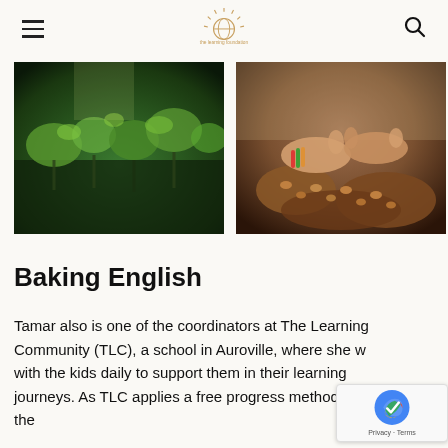Navigation header with hamburger menu, logo, and search icon
[Figure (photo): Close-up photo of small green seedlings growing in dark soil/pots in a lush garden setting]
[Figure (photo): Close-up photo of hands with colorful bracelets handling roasted nuts or seeds on a surface]
Baking English
Tamar also is one of the coordinators at The Learning Community (TLC), a school in Auroville, where she works with the kids daily to support them in their learning journeys. As TLC applies a free progress methodology, the